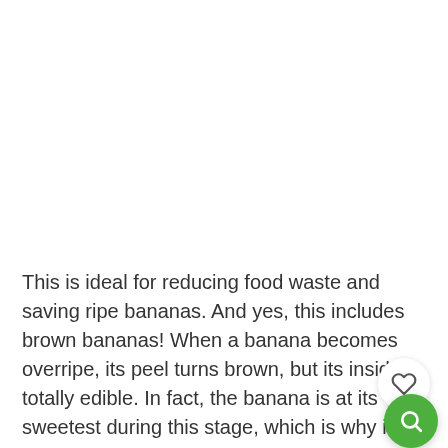This is ideal for reducing food waste and saving ripe bananas. And yes, this includes brown bananas! When a banana becomes overripe, its peel turns brown, but its inside is totally edible. In fact, the banana is at its sweetest during this stage, which is why it's recommended to use overripe bananas for banana bread.